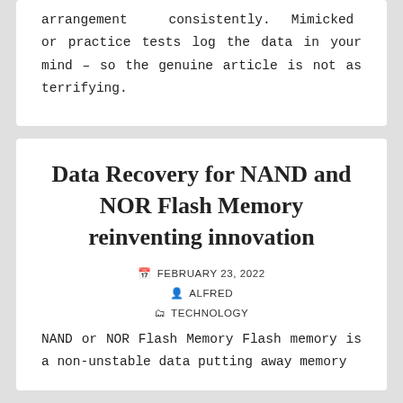arrangement consistently. Mimicked or practice tests log the data in your mind – so the genuine article is not as terrifying.
Data Recovery for NAND and NOR Flash Memory reinventing innovation
FEBRUARY 23, 2022
ALFRED
TECHNOLOGY
NAND or NOR Flash Memory Flash memory is a non-unstable data putting away memory